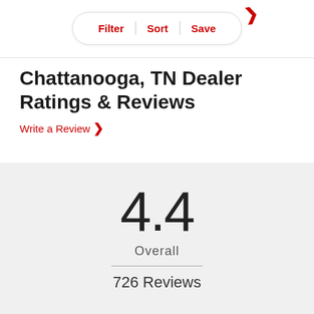[Figure (screenshot): Filter, Sort, Save navigation buttons in a pill-shaped container with a red chevron arrow at top right]
Chattanooga, TN Dealer Ratings & Reviews
Write a Review >
4.4 Overall 726 Reviews